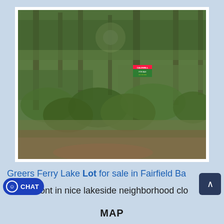[Figure (photo): Wooded lot with dense green trees and vegetation, a real estate for-sale sign visible among the trees, sunlight filtering through the canopy]
Greers Ferry Lake Lot for sale in Fairfield Ba... ont in nice lakeside neighborhood clo...
CHAT
MAP